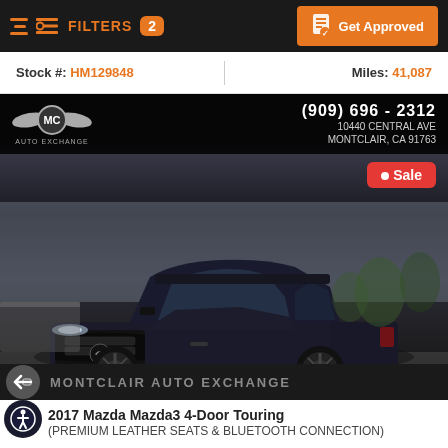FILTERS 2 | Get Approved
Stock #: HM129848 | Miles: 41,087
[Figure (photo): MC Auto Exchange dealership advertisement showing a dark navy/black Mazda3 4-Door sedan parked outdoors with a Sale badge, dealership contact info (909) 696-2312, 10440 Central Ave, Montclair, CA 91763 overlaid at the top]
MONTCLAIR AUTO EXCHANGE
2017 Mazda Mazda3 4-Door Touring
(PREMIUM LEATHER SEATS & BLUETOOTH CONNECTION)